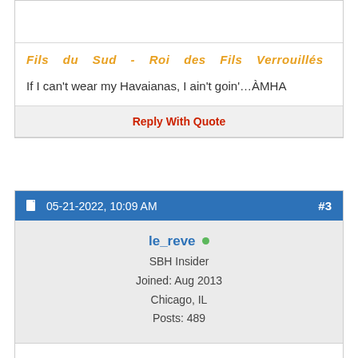Fils du Sud - Roi des Fils Verrouillés
If I can't wear my Havaianas, I ain't goin'…ÀMHA
Reply With Quote
05-21-2022, 10:09 AM   #3
le_reve
SBH Insider
Joined: Aug 2013
Chicago, IL
Posts: 489
Re: Zion Extraordinaire!